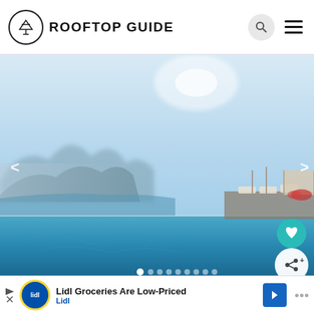ROOFTOP GUIDE
[Figure (photo): Infinity pool overlooking misty mountain lake landscape, with lounge chairs and pergola on the right, clear blue sky above. Navigation arrows on left and right. Heart and share action buttons on bottom right. Carousel dots at bottom center.]
Lidl Groceries Are Low-Priced
Lidl